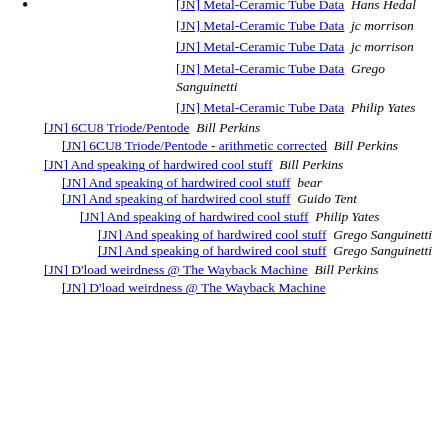[JN] Metal-Ceramic Tube Data  Hans Hedal
[JN] Metal-Ceramic Tube Data  jc morrison
[JN] Metal-Ceramic Tube Data  jc morrison
[JN] Metal-Ceramic Tube Data  Grego Sanguinetti
[JN] Metal-Ceramic Tube Data  Philip Yates
[JN] 6CU8 Triode/Pentode  Bill Perkins
[JN] 6CU8 Triode/Pentode - arithmetic corrected  Bill Perkins
[JN] And speaking of hardwired cool stuff  Bill Perkins
[JN] And speaking of hardwired cool stuff  bear
[JN] And speaking of hardwired cool stuff  Guido Tent
[JN] And speaking of hardwired cool stuff  Philip Yates
[JN] And speaking of hardwired cool stuff  Grego Sanguinetti
[JN] And speaking of hardwired cool stuff  Grego Sanguinetti
[JN] D'load weirdness @ The Wayback Machine  Bill Perkins
[JN] D'load weirdness @ The Wayback Machine